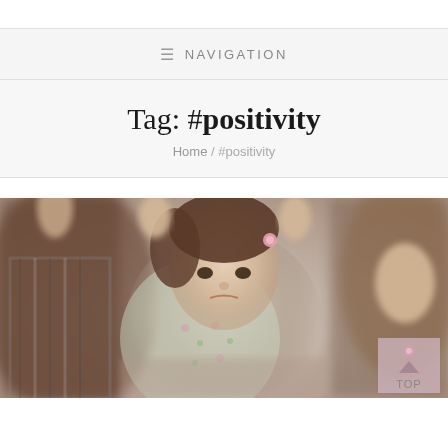≡ NAVIGATION
Tag: #positivity
Home / #positivity
[Figure (photo): A young toddler girl with a pink hair clip wearing a floral top, being held by hands on both sides by adults. Close-up family/parenting photo with soft bokeh background. A pink semi-transparent 'TOP' button is visible in the lower right corner.]